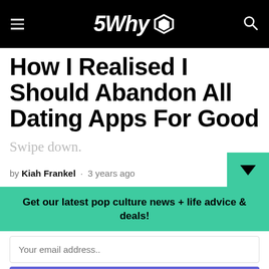5Why
How I Realised I Should Abandon All Dating Apps For Good
Swipe down.
by Kiah Frankel · 3 years ago
Get our latest pop culture news + life advice & deals!
Your email address..
SIGN UP!